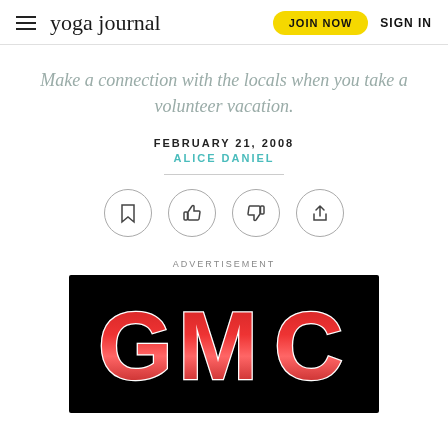yoga journal | JOIN NOW | SIGN IN
Make a connection with the locals when you take a volunteer vacation.
FEBRUARY 21, 2008
ALICE DANIEL
[Figure (other): Four circular action buttons: bookmark, thumbs up, thumbs down, share]
ADVERTISEMENT
[Figure (logo): GMC logo in red metallic letters on black background]